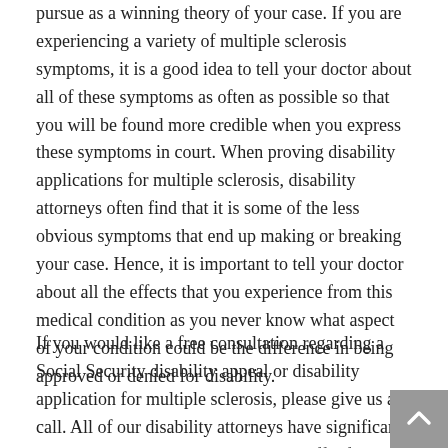pursue as a winning theory of your case. If you are experiencing a variety of multiple sclerosis symptoms, it is a good idea to tell your doctor about all of these symptoms as often as possible so that you will be found more credible when you express these symptoms in court. When proving disability applications for multiple sclerosis, disability attorneys often find that it is some of the less obvious symptoms that end up making or breaking your case. Hence, it is important to tell your doctor about all the effects that you experience from this medical condition as you never know what aspect of your condition could be the difference in being approved or denied for disability.
If you would like a free consultation regarding a Social Security disability appeal or disability application for multiple sclerosis, please give us a call. All of our disability attorneys have significant experience representing clients who suffer from multiple sclerosis, we would be happy to help you as well.